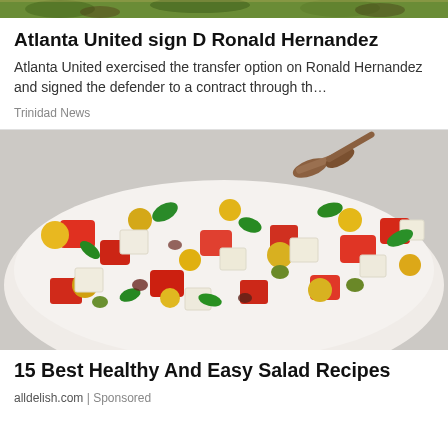[Figure (photo): Top strip showing outdoor/sports scene with green and brown tones]
Atlanta United sign D Ronald Hernandez
Atlanta United exercised the transfer option on Ronald Hernandez and signed the defender to a contract through th…
Trinidad News
[Figure (photo): A large white bowl filled with a colorful salad including watermelon, yellow tomatoes, red tomatoes, mozzarella cubes, green olives, and fresh basil leaves, with wooden serving spoons in the background]
15 Best Healthy And Easy Salad Recipes
alldelish.com | Sponsored